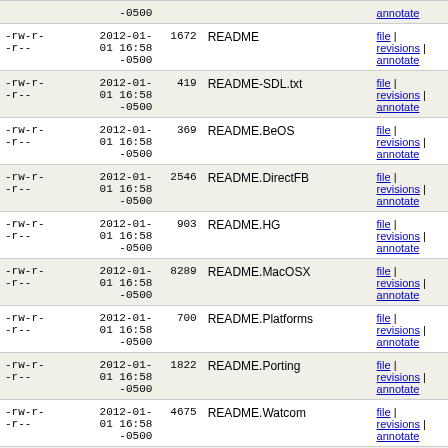| perms | date | size | name | actions |
| --- | --- | --- | --- | --- |
| -rw-r--r-- | 2012-01-01 16:58 -0500 |  |  | annotate |
| -rw-r--r-- | 2012-01-01 16:58 -0500 | 1672 | README | file | revisions | annotate |
| -rw-r--r-- | 2012-01-01 16:58 -0500 | 419 | README-SDL.txt | file | revisions | annotate |
| -rw-r--r-- | 2012-01-01 16:58 -0500 | 369 | README.BeOS | file | revisions | annotate |
| -rw-r--r-- | 2012-01-01 16:58 -0500 | 2546 | README.DirectFB | file | revisions | annotate |
| -rw-r--r-- | 2012-01-01 16:58 -0500 | 903 | README.HG | file | revisions | annotate |
| -rw-r--r-- | 2012-01-01 16:58 -0500 | 8289 | README.MacOSX | file | revisions | annotate |
| -rw-r--r-- | 2012-01-01 16:58 -0500 | 700 | README.Platforms | file | revisions | annotate |
| -rw-r--r-- | 2012-01-01 16:58 -0500 | 1822 | README.Porting | file | revisions | annotate |
| -rw-r--r-- | 2012-01-01 16:58 -0500 | 4675 | README.Watcom | file | revisions | annotate |
| -rw-r--r-- | 2012-01-01 16:58 | 1735 | README.WinCE | file | revisions |